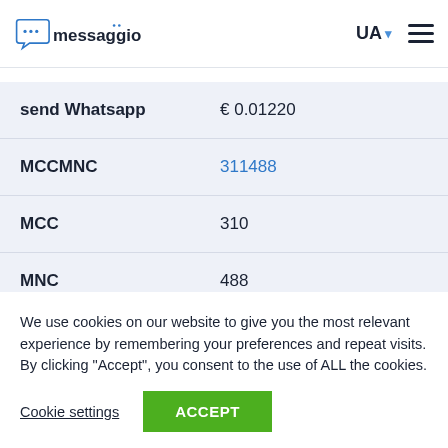messaggio | UA
send SMS  € 0.00790
send Viber  € 0.00800
|  |  |
| --- | --- |
| send Whatsapp | € 0.01220 |
| MCCMNC | 311488 |
| MCC | 310 |
| MNC | 488 |
We use cookies on our website to give you the most relevant experience by remembering your preferences and repeat visits. By clicking “Accept”, you consent to the use of ALL the cookies.
Cookie settings  ACCEPT